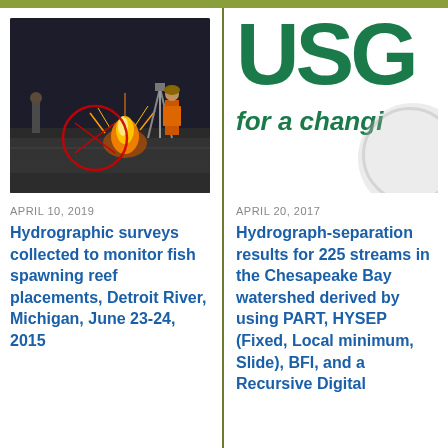[Figure (photo): Field photo showing researchers measuring stream flow with a pole and tripod equipment. Fire/flares visible in the water. Red circle annotation on the image.]
APRIL 10, 2019
Hydrographic surveys collected to monitor fish spawning reef placements, Detroit River, Michigan, June 23-24, 2015
[Figure (logo): USGS logo - large bold green letters USG (partially visible), with tagline 'for a changi' (partially visible, likely 'for a changing world')]
APRIL 20, 2017
Hydrograph-separation results for 225 streams in the Chesapeake Bay watershed derived by using PART, HYSEP (Fixed, Local minimum, Slide), BFI, and a Recursive Digital